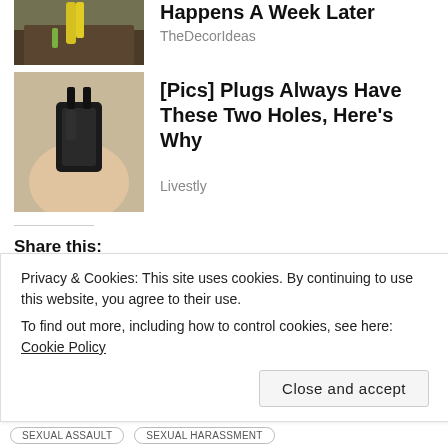[Figure (photo): Partial photo of yellow plant shoots emerging from dark soil]
Happens A Week Later
TheDecorIdeas
[Figure (photo): Close-up photo of a hand holding a black electrical plug]
[Pics] Plugs Always Have These Two Holes, Here's Why
Livestly
Share this:
Tweet
More
Like
Privacy & Cookies: This site uses cookies. By continuing to use this website, you agree to their use.
To find out more, including how to control cookies, see here: Cookie Policy
Close and accept
SEXUAL ASSAULT
SEXUAL HARASSMENT